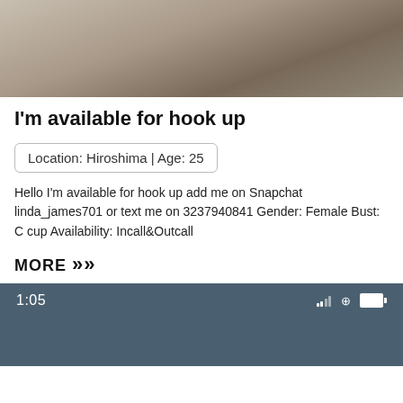[Figure (photo): Photo of a tattooed person partially visible, cropped at upper portion]
I'm available for hook up
Location: Hiroshima | Age: 25
Hello I'm available for hook up add me on Snapchat linda_james701 or text me on 3237940841 Gender: Female Bust: C cup Availability: Incall&Outcall
MORE »»
[Figure (screenshot): Screenshot of a mobile phone screen showing time 1:05 with status bar icons on a dark blue-grey background]